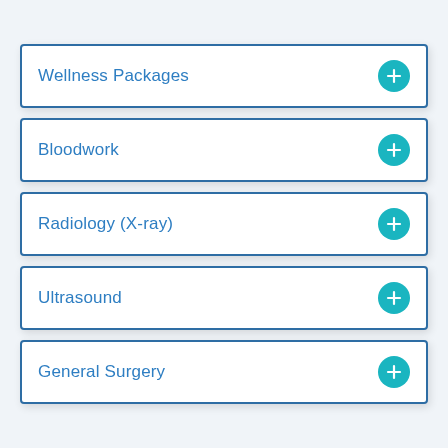Wellness Packages
Bloodwork
Radiology (X-ray)
Ultrasound
General Surgery